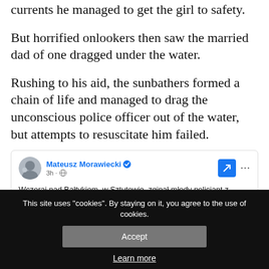currents he managed to get the girl to safety.
But horrified onlookers then saw the married dad of one dragged under the water.
Rushing to his aid, the sunbathers formed a chain of life and managed to drag the unconscious police officer out of the water, but attempts to resuscitate him failed.
[Figure (screenshot): Facebook post by Mateusz Morawiecki (verified), posted 3h ago, public. Text: 'Wczoraj nad Bałtykiem, w Sztutowie, zginął młody policjant z Mińska Mazowieckiego.']
This site uses "cookies". By staying on it, you agree to the use of cookies.
Accept
Learn more